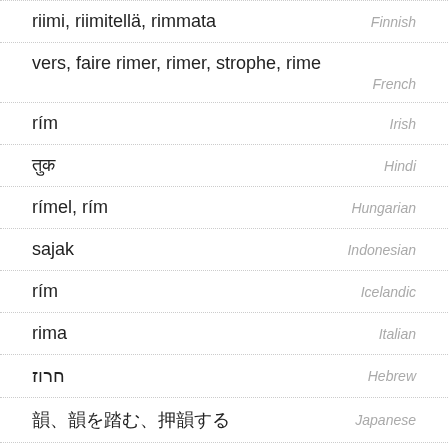riimi, riimitellä, rimmata — Finnish
vers, faire rimer, rimer, strophe, rime — French
rím — Irish
तुक — Hindi
rímel, rím — Hungarian
sajak — Indonesian
rím — Icelandic
rima — Italian
חרוז — Hebrew
韻、韻を踏む、押韻する — Japanese